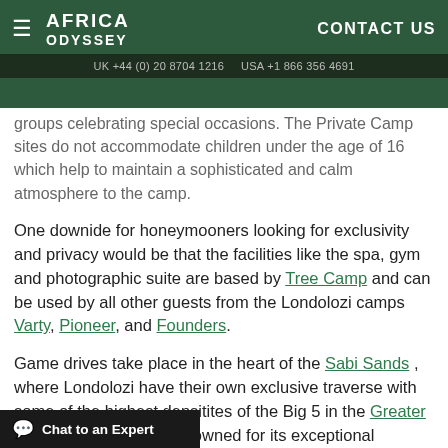AFRICA ODYSSEY | CONTACT US | UK +44 (0) 20 8704 1216 | USA +1 866 356 4691
groups celebrating special occasions. The Private Camp sites do not accommodate children under the age of 16 which help to maintain a sophisticated and calm atmosphere to the camp.
One downide for honeymooners looking for exclusivity and privacy would be that the facilities like the spa, gym and photographic suite are based by Tree Camp and can be used by all other guests from the Londolozi camps Varty, Pioneer, and Founders.
Game drives take place in the heart of the Sabi Sands , where Londolozi have their own exclusive traverse with some of the highest densitites of the Big 5 in the Greater Kruger . Londolozi is renowned for its exceptional leopard other lodges traversing the